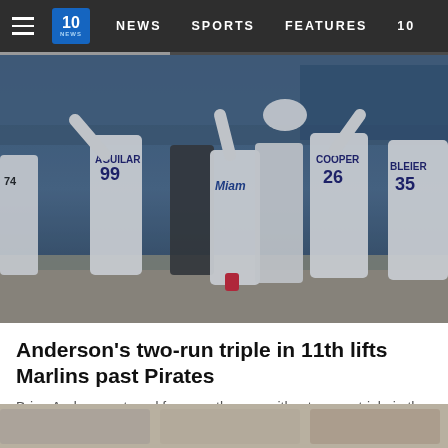NEWS  SPORTS  FEATURES  10
[Figure (photo): Miami Marlins baseball players celebrating on the field, with players wearing jerseys numbered 99 (AGUILAR), 26 (COOPER), and 35 (BLEIER). Players are celebrating with arms raised and embracing each other on the field.]
Anderson's two-run triple in 11th lifts Marlins past Pirates
Brian Anderson atoned for a costly error with a two-run triple in the 11th inning and the Miami Marlins beat the Pittsburgh Pirates 3-2...